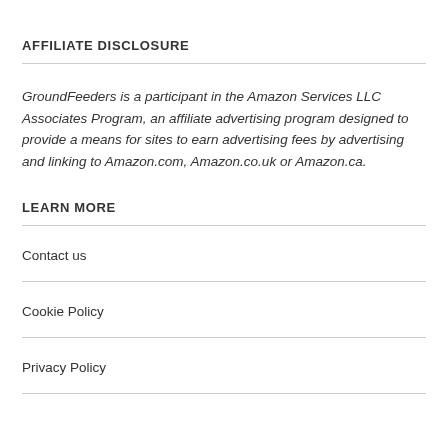AFFILIATE DISCLOSURE
GroundFeeders is a participant in the Amazon Services LLC Associates Program, an affiliate advertising program designed to provide a means for sites to earn advertising fees by advertising and linking to Amazon.com, Amazon.co.uk or Amazon.ca.
LEARN MORE
Contact us
Cookie Policy
Privacy Policy